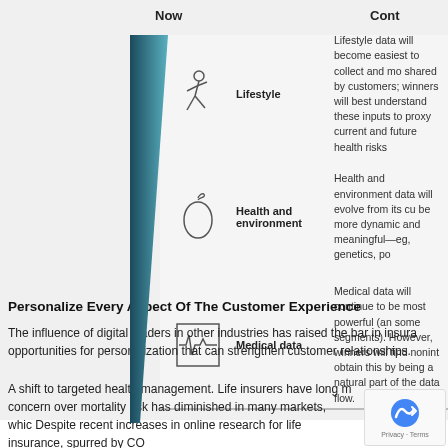Now    Cont
[Figure (infographic): Three-row infographic table with diagonal teal bar on left side. Rows show: 1) Lifestyle (runner icon) - Lifestyle data will become easiest to collect and most shared by customers; winners will best understand these inputs to proxy current and future health risks. 2) Health and environment (apple icon) - Health and environment data will evolve from its current state to be more dynamic and meaningful—eg, genetics, po... 3) Medical data (ECG chart icon) - Medical data will continue to be most powerful (and some segments). However, winners will find nonint... obtain this by being a natural part of the data flow.]
Personalize Every Aspect Of The Customer Experience
The influence of digital leaders in other industries has raised the bar in insura opportunities for personalization that can strengthen customer relationships.
A shift to targeted health management. Life insurers have long m concern over mortality risk has diminished in many markets, whic Despite recent increases in online research for life insurance, spurred by CO